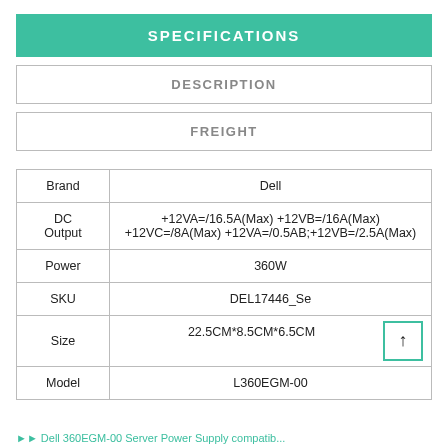SPECIFICATIONS
DESCRIPTION
FREIGHT
|  |  |
| --- | --- |
| Brand | Dell |
| DC Output | +12VA=/16.5A(Max) +12VB=/16A(Max) +12VC=/8A(Max) +12VA=/0.5AB;+12VB=/2.5A(Max) |
| Power | 360W |
| SKU | DEL17446_Se |
| Size | 22.5CM*8.5CM*6.5CM |
| Model | L360EGM-00 |
Dell 360EGM-00 Server Power Supply compatible